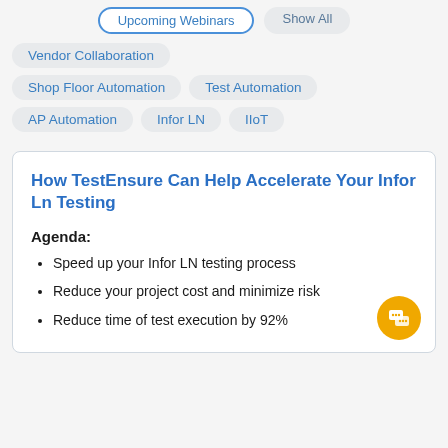Upcoming Webinars   Show All
Vendor Collaboration
Shop Floor Automation
Test Automation
AP Automation
Infor LN
IIoT
How TestEnsure Can Help Accelerate Your Infor Ln Testing
Agenda:
Speed up your Infor LN testing process
Reduce your project cost and minimize risk
Reduce time of test execution by 92%